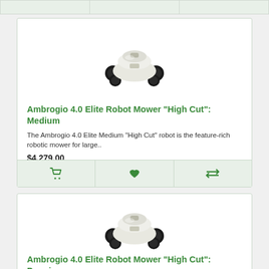[Figure (other): Clipped top row with three cells showing partial product listing above]
[Figure (photo): Ambrogio 4.0 Elite robot mower - white body with black wheels, top-down angled view]
Ambrogio 4.0 Elite Robot Mower "High Cut": Medium
The Ambrogio 4.0 Elite Medium "High Cut" robot is the feature-rich robotic mower for large..
$4,279.00
[Figure (other): Action buttons row: shopping cart icon, heart/wishlist icon, compare icon]
[Figure (photo): Ambrogio 4.0 Elite robot mower - white body with black wheels, top-down angled view]
Ambrogio 4.0 Elite Robot Mower "High Cut": Premium
The Ambrogio 4.0 Elite Premium "High Cut" robot is the feature...